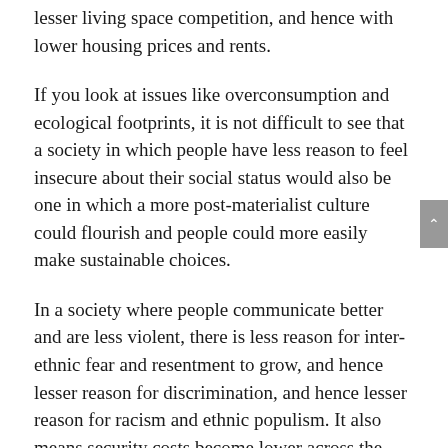lesser living space competition, and hence with lower housing prices and rents.
If you look at issues like overconsumption and ecological footprints, it is not difficult to see that a society in which people have less reason to feel insecure about their social status would also be one in which a more post-materialist culture could flourish and people could more easily make sustainable choices.
In a society where people communicate better and are less violent, there is less reason for inter-ethnic fear and resentment to grow, and hence lesser reason for discrimination, and hence lesser reason for racism and ethnic populism. It also means security costs become lower across the board, meaning more resources can be pooled into preventive social measures, meaning society becomes less repressive.
When it comes to issues of mental health, psychological development, how personalities develop, the degree of